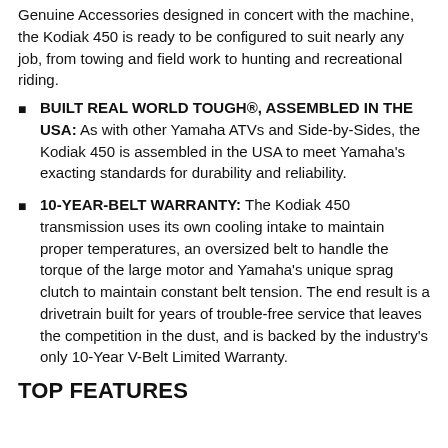Genuine Accessories designed in concert with the machine, the Kodiak 450 is ready to be configured to suit nearly any job, from towing and field work to hunting and recreational riding.
BUILT REAL WORLD TOUGH®, ASSEMBLED IN THE USA: As with other Yamaha ATVs and Side-by-Sides, the Kodiak 450 is assembled in the USA to meet Yamaha's exacting standards for durability and reliability.
10-YEAR-BELT WARRANTY: The Kodiak 450 transmission uses its own cooling intake to maintain proper temperatures, an oversized belt to handle the torque of the large motor and Yamaha's unique sprag clutch to maintain constant belt tension. The end result is a drivetrain built for years of trouble-free service that leaves the competition in the dust, and is backed by the industry's only 10-Year V-Belt Limited Warranty.
TOP FEATURES